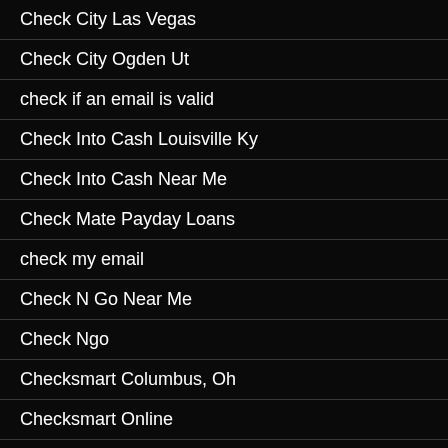Check City Las Vegas
Check City Ogden Ut
check if an email is valid
Check Into Cash Louisville Ky
Check Into Cash Near Me
Check Mate Payday Loans
check my email
Check N Go Near Me
Check Ngo
Checksmart Columbus, Oh
Checksmart Online
Chelsea sugar daddy meet
chemistry accedi